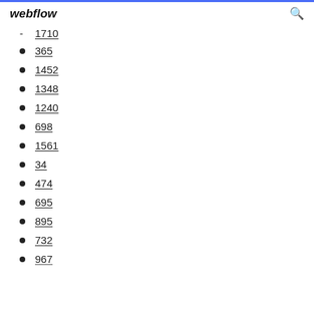webflow
1710
365
1452
1348
1240
698
1561
34
474
695
895
732
967